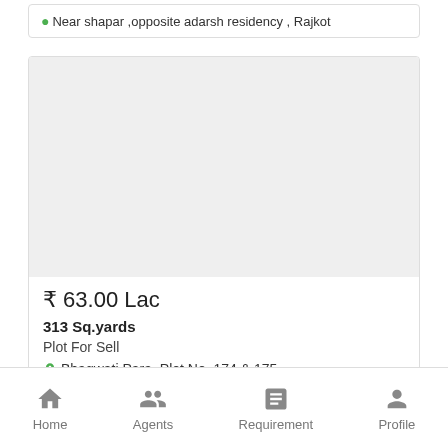Near shapar ,opposite adarsh residency , Rajkot
[Figure (photo): Property listing card image placeholder (grey rectangle)]
₹ 63.00 Lac
313 Sq.yards
Plot For Sell
Bhagwati Para. Plot No. 174 & 175
Home  Agents  Requirement  Profile